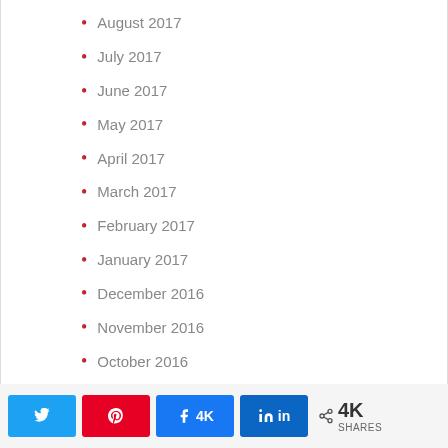August 2017
July 2017
June 2017
May 2017
April 2017
March 2017
February 2017
January 2017
December 2016
November 2016
October 2016
Twitter  Pinterest  Facebook 4K  LinkedIn  < 4K SHARES